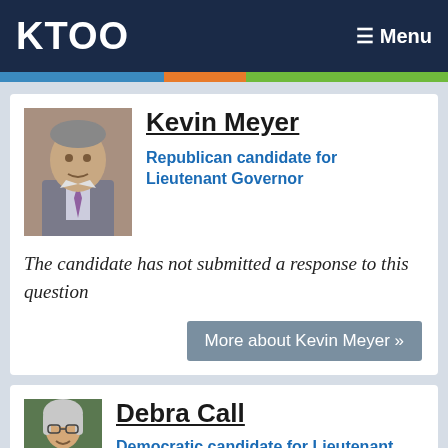KTOO  ≡ Menu
Kevin Meyer
Republican candidate for Lieutenant Governor
The candidate has not submitted a response to this question
More about Kevin Meyer »
Debra Call
Democratic candidate for Lieutenant